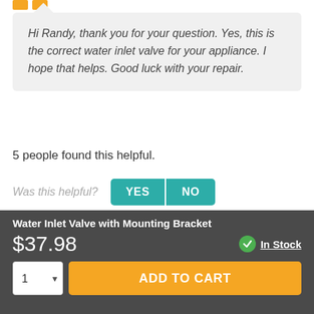Hi Randy, thank you for your question. Yes, this is the correct water inlet valve for your appliance. I hope that helps. Good luck with your repair.
5 people found this helpful.
Was this helpful? YES NO
Ashley — July 20, 2017
My washer is taking FOREVER to fill up!! Neighbor said
Water Inlet Valve with Mounting Bracket
$37.98
In Stock
ADD TO CART